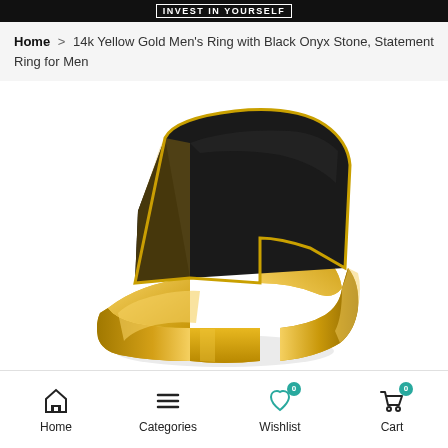INVEST IN YOURSELF
Home > 14k Yellow Gold Men's Ring with Black Onyx Stone, Statement Ring for Men
[Figure (photo): Close-up photograph of a 14k yellow gold men's signet ring with a large rectangular black onyx stone on top. The ring is shown at an angle against a white background, displaying the polished gold band and the flat black stone face.]
Home   Categories   Wishlist 0   Cart 0